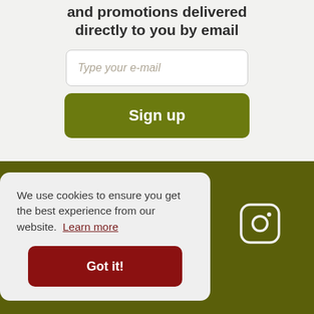and promotions delivered directly to you by email
[Figure (screenshot): Email input field with placeholder text 'Type your e-mail']
[Figure (screenshot): Green 'Sign up' button]
We use cookies to ensure you get the best experience from our website. Learn more
[Figure (screenshot): Dark red 'Got it!' button in cookie consent banner]
[Figure (logo): Instagram icon in white on dark olive background]